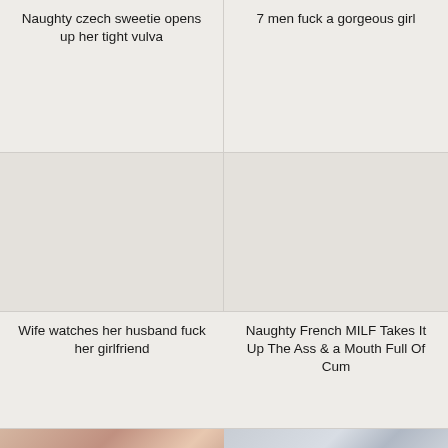Naughty czech sweetie opens up her tight vulva
[Figure (photo): Placeholder image area (no image visible)]
7 men fuck a gorgeous girl
[Figure (photo): Placeholder image area (no image visible)]
[Figure (photo): Placeholder image area (no image visible)]
Wife watches her husband fuck her girlfriend
[Figure (photo): Placeholder image area (no image visible)]
Naughty French MILF Takes It Up The Ass & a Mouth Full Of Cum
[Figure (photo): Close-up photo of fingers]
[Figure (photo): Photo of person in white coat]